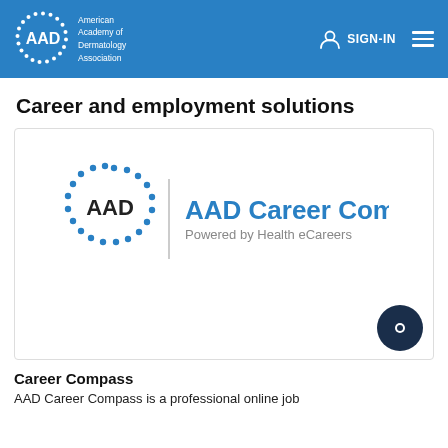AAD American Academy of Dermatology Association | SIGN-IN
Career and employment solutions
[Figure (logo): AAD Career Compass logo — AAD circular dotted logo on left, vertical divider, then 'AAD Career Compass' in blue bold text and 'Powered by Health eCareers' in gray below]
Career Compass
AAD Career Compass is a professional online job